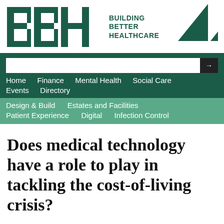[Figure (logo): BBH Building Better Healthcare logo with teal letters BBH, text 'BUILDING BETTER HEALTHCARE', and decorative triangles]
[Figure (screenshot): Website navigation header with search bar, main navigation links (Home, Finance, Mental Health, Social Care, Events, Directory) on dark green background, and secondary navigation (Design & Build, Estates and Facilities, Patient Experience, Digital, Infection Control) on teal background]
Does medical technology have a role to play in tackling the cost-of-living crisis?